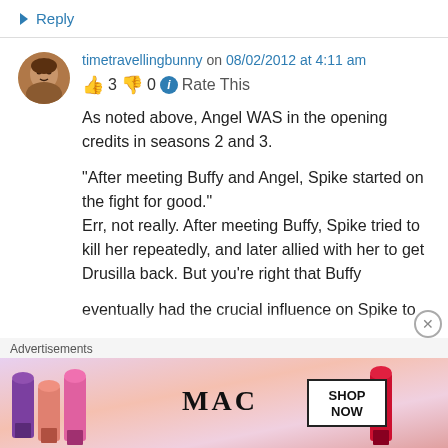↳ Reply
timetravellingbunny on 08/02/2012 at 4:11 am
👍 3 👎 0 ℹ Rate This
As noted above, Angel WAS in the opening credits in seasons 2 and 3.

"After meeting Buffy and Angel, Spike started on the fight for good."
Err, not really. After meeting Buffy, Spike tried to kill her repeatedly, and later allied with her to get Drusilla back. But you're right that Buffy eventually had the crucial influence on Spike to...
Advertisements